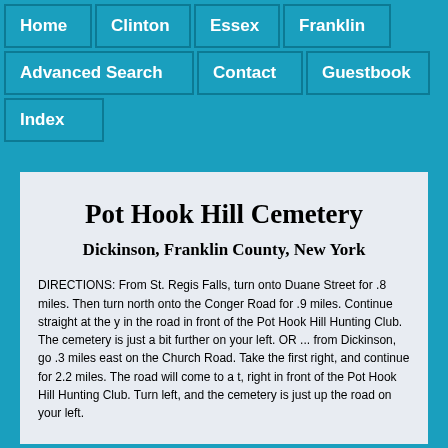Home | Clinton | Essex | Franklin | Advanced Search | Contact | Guestbook | Index
Pot Hook Hill Cemetery
Dickinson, Franklin County, New York
DIRECTIONS: From St. Regis Falls, turn onto Duane Street for .8 miles. Then turn north onto the Conger Road for .9 miles. Continue straight at the y in the road in front of the Pot Hook Hill Hunting Club. The cemetery is just a bit further on your left. OR ... from Dickinson, go .3 miles east on the Church Road. Take the first right, and continue for 2.2 miles. The road will come to a t, right in front of the Pot Hook Hill Hunting Club. Turn left, and the cemetery is just up the road on your left.